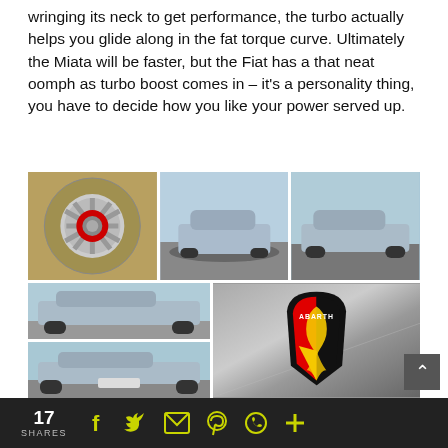wringing its neck to get performance, the turbo actually helps you glide along in the fat torque curve. Ultimately the Miata will be faster, but the Fiat has a that neat oomph as turbo boost comes in – it's a personality thing, you have to decide how you like your power served up.
[Figure (photo): Grid of 5 photos showing a silver Fiat 124 Spider Abarth: wheel closeup with red brake caliper, front 3/4 view in parking lot, side view in parking lot, side profile driving, rear 3/4 view, and close-up of Abarth badge on hood.]
17 SHARES  [social share icons: Facebook, Twitter, Email, Pinterest, WhatsApp, Plus]